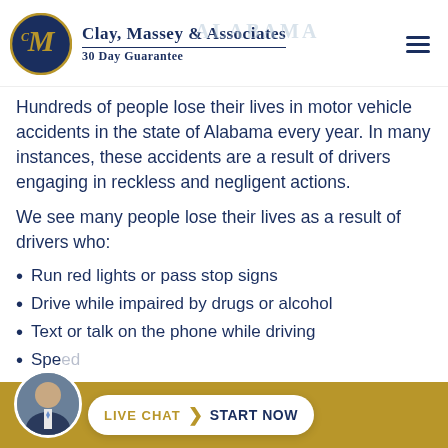Clay, Massey & Associates 30 Day Guarantee
Hundreds of people lose their lives in motor vehicle accidents in the state of Alabama every year. In many instances, these accidents are a result of drivers engaging in reckless and negligent actions.
We see many people lose their lives as a result of drivers who:
Run red lights or pass stop signs
Drive while impaired by drugs or alcohol
Text or talk on the phone while driving
Spe...
LIVE CHAT  START NOW